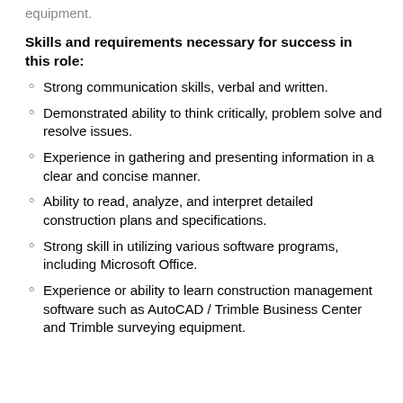equipment.
Skills and requirements necessary for success in this role:
Strong communication skills, verbal and written.
Demonstrated ability to think critically, problem solve and resolve issues.
Experience in gathering and presenting information in a clear and concise manner.
Ability to read, analyze, and interpret detailed construction plans and specifications.
Strong skill in utilizing various software programs, including Microsoft Office.
Experience or ability to learn construction management software such as AutoCAD / Trimble Business Center and Trimble surveying equipment.